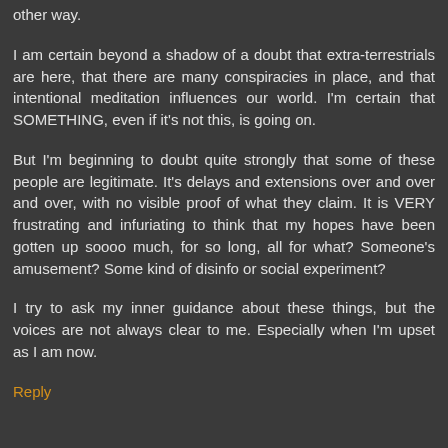other way.
I am certain beyond a shadow of a doubt that extra-terrestrials are here, that there are many conspiracies in place, and that intentional meditation influences our world. I'm certain that SOMETHING, even if it's not this, is going on.
But I'm beginning to doubt quite strongly that some of these people are legitimate. It's delays and extensions over and over and over, with no visible proof of what they claim. It is VERY frustrating and infuriating to think that my hopes have been gotten up soooo much, for so long, all for what? Someone's amusement? Some kind of disinfo or social experiment?
I try to ask my inner guidance about these things, but the voices are not always clear to me. Especially when I'm upset as I am now.
Reply